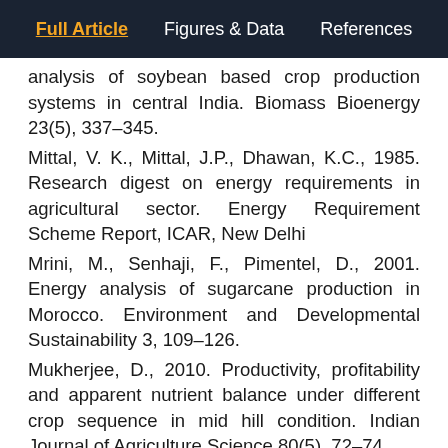Full Article | Figures & Data | References
analysis of soybean based crop production systems in central India. Biomass Bioenergy 23(5), 337–345.
Mittal, V. K., Mittal, J.P., Dhawan, K.C., 1985. Research digest on energy requirements in agricultural sector. Energy Requirement Scheme Report, ICAR, New Delhi
Mrini, M., Senhaji, F., Pimentel, D., 2001. Energy analysis of sugarcane production in Morocco. Environment and Developmental Sustainability 3, 109–126.
Mukherjee, D., 2010. Productivity, profitability and apparent nutrient balance under different crop sequence in mid hill condition. Indian Journal of Agriculture Science 80(5), 72–74.
Mukherjee, D., 2016. Evaluation of different crop sequence production potential, economics and balance under new alluvial situation of north plain zone. International Journal of Agriculture and